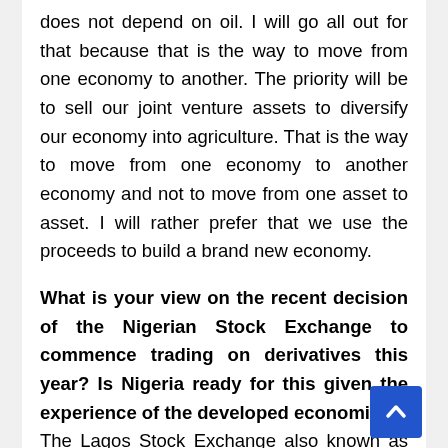does not depend on oil. I will go all out for that because that is the way to move from one economy to another. The priority will be to sell our joint venture assets to diversify our economy into agriculture. That is the way to move from one economy to another economy and not to move from one asset to asset. I will rather prefer that we use the proceeds to build a brand new economy.
What is your view on the recent decision of the Nigerian Stock Exchange to commence trading on derivatives this year? Is Nigeria ready for this given the experience of the developed economies?
The Lagos Stock Exchange also known as the Nigerian Stock Exchange needs serious